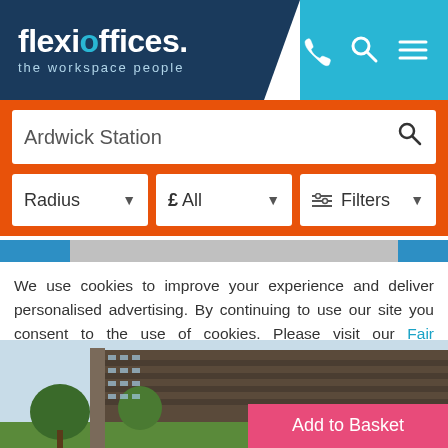flexioffices. the workspace people
Ardwick Station
Radius | £ All | Filters
We use cookies to improve your experience and deliver personalised advertising. By continuing to use our site you consent to the use of cookies. Please visit our Fair Processing Notice and our Cookie Policy to learn more.
Read more | Accept & Close
[Figure (photo): Building exterior photo showing a multi-storey office block with trees in foreground and an Add to Basket pink overlay button]